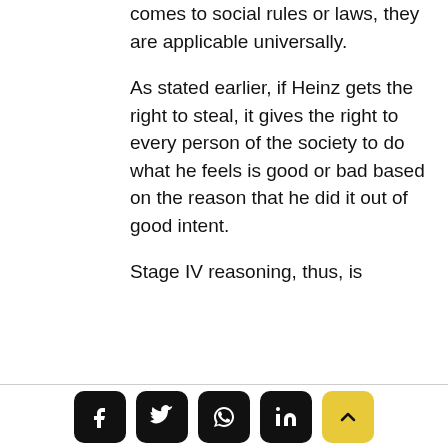comes to social rules or laws, they are applicable universally.
As stated earlier, if Heinz gets the right to steal, it gives the right to every person of the society to do what he feels is good or bad based on the reason that he did it out of good intent.
Stage IV reasoning, thus, is
Social media share and scroll-to-top buttons: Facebook, Twitter, WhatsApp, LinkedIn, Up arrow